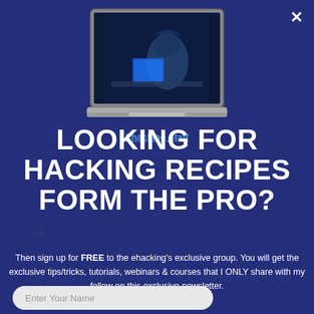[Figure (screenshot): Laptop computer showing a hooded hacker figure in a dark server room, displayed as a popup overlay on a website]
Ehacking Staff
With more than 10 years in the security and around the world's leading cybersecurity training provider, the Academy is the brainchild of... has... of training since the past five years and continues to help in creating... professionals...
LOOKING FOR HACKING RECIPES FORM THE PRO?
Then sign up for FREE to the ehacking's exclusive group. You will get the exclusive tips/tricks, tutorials, webinars & courses that I ONLY share with my fellow on this exclusive newsletter.
4 Key Takeaways from the 2021 State of Cloud Security Posture Management Report
Enter Your Name